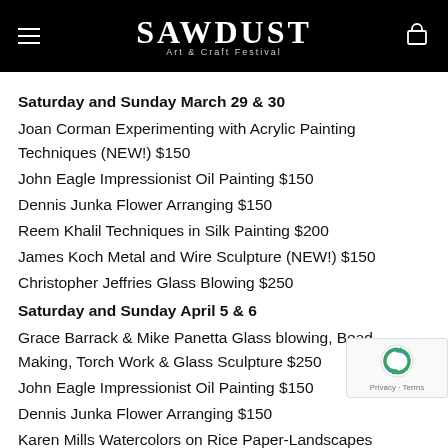SAWDUST Art & Craft Festival
Saturday and Sunday March 29 & 30
Joan Corman Experimenting with Acrylic Painting Techniques (NEW!) $150
John Eagle Impressionist Oil Painting $150
Dennis Junka Flower Arranging $150
Reem Khalil Techniques in Silk Painting $200
James Koch Metal and Wire Sculpture (NEW!) $150
Christopher Jeffries Glass Blowing $250
Saturday and Sunday April 5 & 6
Grace Barrack & Mike Panetta Glass blowing, Bead Making, Torch Work & Glass Sculpture $250
John Eagle Impressionist Oil Painting $150
Dennis Junka Flower Arranging $150
Karen Mills Watercolors on Rice Paper-Landscapes